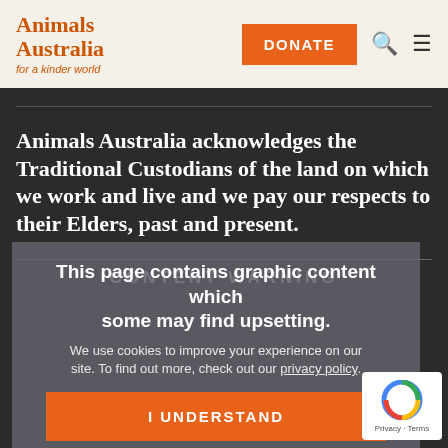Animals Australia for a kinder world | DONATE
Animals Australia acknowledges the Traditional Custodians of the land on which we work and live and we pay our respects to their Elders, past and present.
CONTENT WARNING
This page contains graphic content which some may find upsetting.
We use cookies to improve your experience on our site. To find out more, check out our privacy policy.
I UNDERSTAND